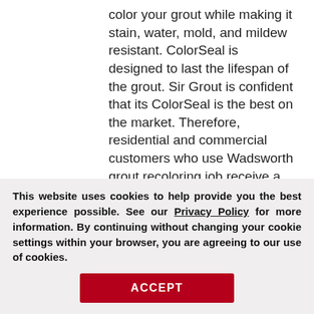color your grout while making it stain, water, mold, and mildew resistant. ColorSeal is designed to last the lifespan of the grout. Sir Grout is confident that its ColorSeal is the best on the market. Therefore, residential and commercial customers who use Wadsworth grout recoloring job receive a conditional lifetime warranty.
[Figure (photo): Before and after photo of tiled floor grout recoloring. Left side shows tiles with dark/original grout lines, right side shows tiles after treatment. A red vertical divider separates the two. An 'After' label appears top right. A 'Request a Free' button with close icon overlays the bottom right.]
This website uses cookies to help provide you the best experience possible. See our Privacy Policy for more information. By continuing without changing your cookie settings within your browser, you are agreeing to our use of cookies.
ACCEPT